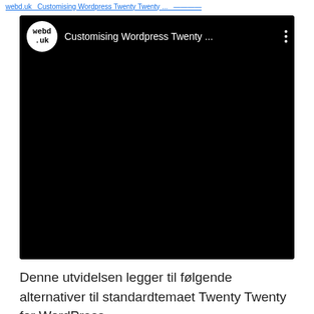webd.uk — Customising Wordpress Twenty ...
[Figure (screenshot): YouTube-style video embed showing a black video player with channel logo (webd .uk) and title 'Customising Wordpress Twenty ...' with three-dot menu icon]
Denne utvidelsen legger til følgende alternativer til standardtemaet Twenty Twenty for WordPress ...